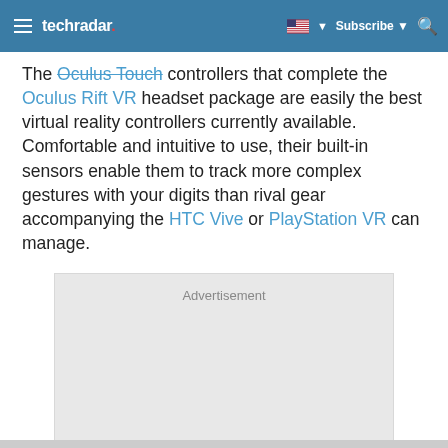techradar — Subscribe
The Oculus Touch controllers that complete the Oculus Rift VR headset package are easily the best virtual reality controllers currently available. Comfortable and intuitive to use, their built-in sensors enable them to track more complex gestures with your digits than rival gear accompanying the HTC Vive or PlayStation VR can manage.
[Figure (other): Advertisement placeholder box]